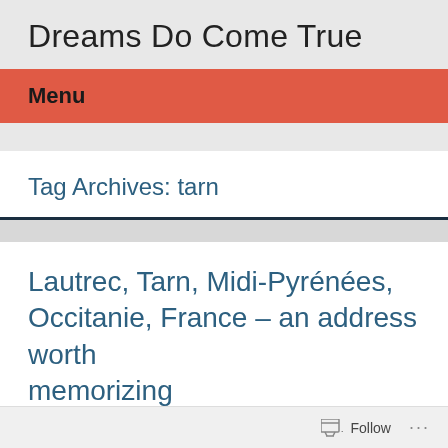Dreams Do Come True
Menu
Tag Archives: tarn
Lautrec, Tarn, Midi-Pyrénées, Occitanie, France – an address worth memorizing
Follow